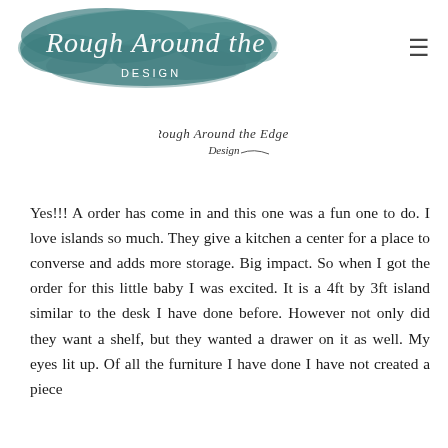[Figure (logo): Rough Around the Edges Design logo — script text on a teal/dark watercolor paint splash background]
[Figure (logo): Small Rough Around the Edges Design watermark logo in script style]
Yes!!! A order has come in and this one was a fun one to do. I love islands so much. They give a kitchen a center for a place to converse and adds more storage. Big impact. So when I got the order for this little baby I was excited. It is a 4ft by 3ft island similar to the desk I have done before. However not only did they want a shelf, but they wanted a drawer on it as well. My eyes lit up. Of all the furniture I have done I have not created a piece